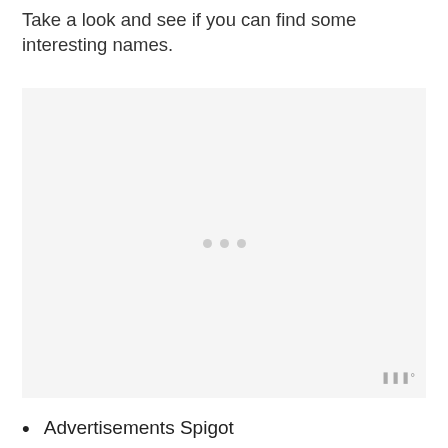Take a look and see if you can find some interesting names.
[Figure (other): A placeholder image box with a light gray background and three small gray loading dots in the center, with a watermark logo in the bottom-right corner.]
Advertisements Spigot